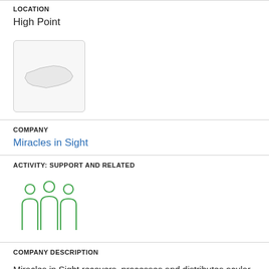LOCATION
High Point
[Figure (map): Small map thumbnail showing the outline of North Carolina state]
COMPANY
Miracles in Sight
ACTIVITY: SUPPORT AND RELATED
[Figure (illustration): Green icon showing three people/group figures representing support and related activity]
COMPANY DESCRIPTION
Miracles in Sight recovers, processes and distributes ocular tissue for the restoration of sight through corneal transplantation and related medical therapy and research.